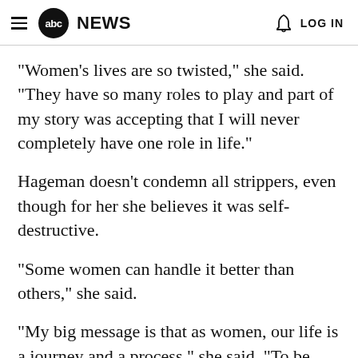abc NEWS  LOG IN
"Women's lives are so twisted," she said. "They have so many roles to play and part of my story was accepting that I will never completely have one role in life."
Hageman doesn't condemn all strippers, even though for her she believes it was self-destructive.
"Some women can handle it better than others," she said.
"My big message is that as women, our life is a journey and a process," she said. "To be self-